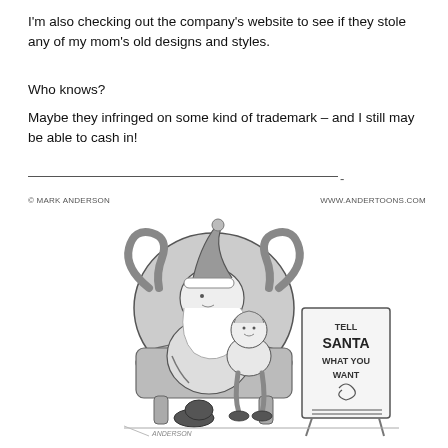I'm also checking out the company's website to see if they stole any of my mom's old designs and styles.
Who knows?
Maybe they infringed on some kind of trademark – and I still may be able to cash in!
[Figure (illustration): Andertoons cartoon: Santa Claus sitting in an armchair with a child on his lap. A sign reads 'TELL SANTA WHAT YOU WANT'. Copyright Mark Anderson, www.andertoons.com.]